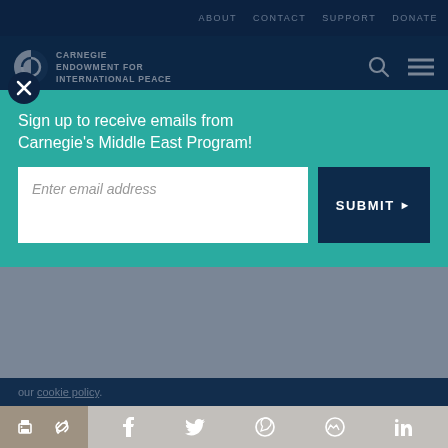ABOUT  CONTACT  SUPPORT  DONATE
[Figure (logo): Carnegie Endowment for International Peace logo with circular icon and text]
channeling of opposition into legal channels; some limited opportunities for co-opting critics; and
[Figure (screenshot): Teal popup modal: Sign up to receive emails from Carnegie's Middle East Program! with email input and SUBMIT button]
our cookie policy.
Share icons: print, link, facebook, twitter, whatsapp, messenger, linkedin